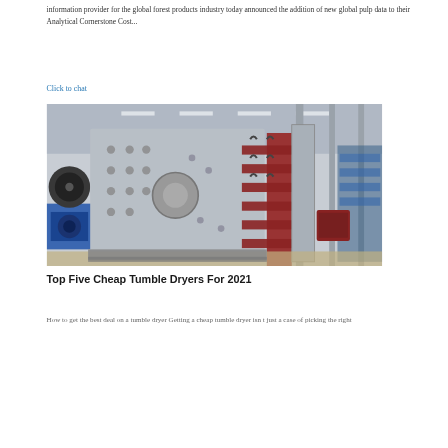information provider for the global forest products industry today announced the addition of new global pulp data to their Analytical Cornerstone Cost...
Click to chat
[Figure (photo): Industrial photograph of large heavy machinery — a steel vibratory screen or industrial separator frame on a factory floor, with red internal shelf members visible, surrounded by industrial equipment in a large warehouse setting.]
Top Five Cheap Tumble Dryers For 2021
How to get the best deal on a tumble dryer Getting a cheap tumble dryer isn t just a case of picking the right